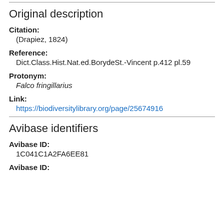Original description
Citation:
(Drapiez, 1824)
Reference:
Dict.Class.Hist.Nat.ed.BorydeSt.-Vincent p.412 pl.59
Protonym:
Falco fringillarius
Link:
https://biodiversitylibrary.org/page/25674916
Avibase identifiers
Avibase ID:
1C041C1A2FA6EE81
Avibase ID: